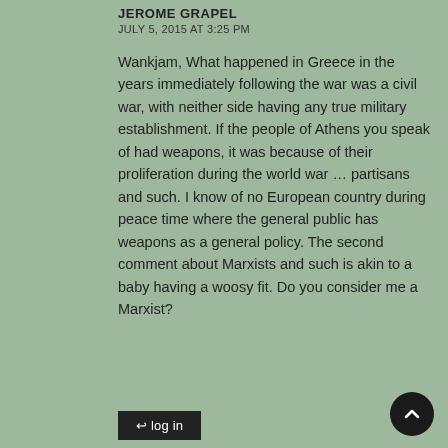JEROME GRAPEL
JULY 5, 2015 AT 3:25 PM
Wankjam, What happened in Greece in the years immediately following the war was a civil war, with neither side having any true military establishment. If the people of Athens you speak of had weapons, it was because of their proliferation during the world war ... partisans and such. I know of no European country during peace time where the general public has weapons as a general policy. The second comment about Marxists and such is akin to a baby having a woosy fit. Do you consider me a Marxist?